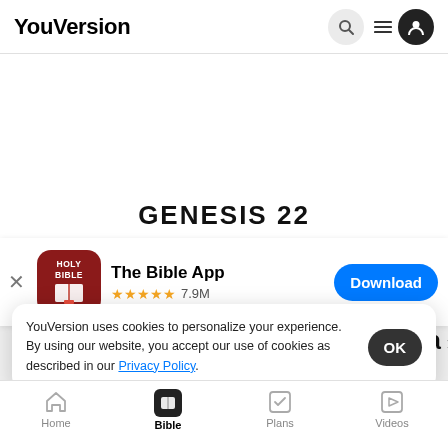YouVersion
[Figure (screenshot): YouVersion Bible app webpage screenshot showing app download banner, cookie consent dialog, and bottom navigation bar with Home, Bible, Plans, Videos tabs]
The Bible App ★★★★★ 7.9M
Download
GENESIS 2
God Commands Abraham to Offer Isa
1
called to him, 'Abraham!' And Abraham answered,
YouVersion uses cookies to personalize your experience. By using our website, you accept our use of cookies as described in our Privacy Policy.
OK
Home  Bible  Plans  Videos